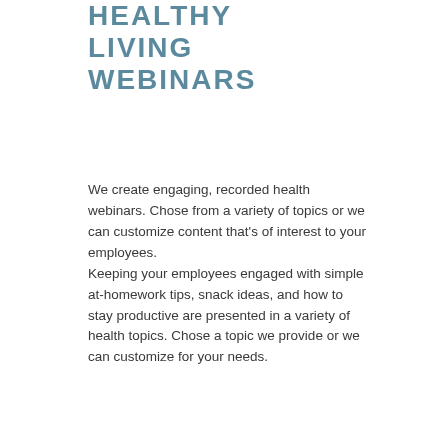HEALTHY LIVING WEBINARS
We create engaging, recorded health webinars. Chose from a variety of topics or we can customize content that's of interest to your employees. Keeping your employees engaged with simple at-homework tips, snack ideas, and how to stay productive are presented in a variety of health topics. Chose a topic we provide or we can customize for your needs.